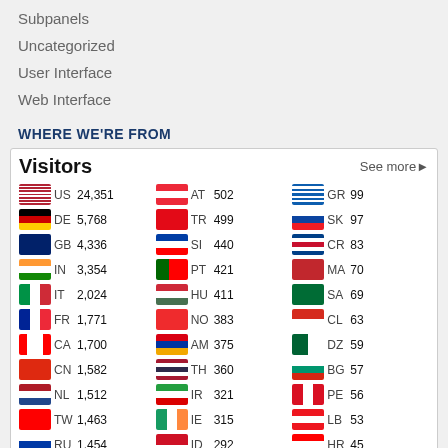Subpanels
Uncategorized
User Interface
Web Interface
WHERE WE'RE FROM
[Figure (table-as-image): Visitors widget showing country flags, country codes and visitor counts. Columns: US 24,351 / AT 502 / GR 99; DE 5,768 / TR 499 / SK 97; GB 4,336 / SI 440 / CR 83; IN 3,354 / PT 421 / MA 70; IT 2,024 / HU 411 / SA 69; FR 1,771 / NO 383 / CL 63; CA 1,700 / AM 375 / DZ 59; CN 1,582 / TH 360 / BG 57; NL 1,512 / IR 321 / PE 56; TW 1,463 / IE 315 / LB 53; RU 1,454 / ID 292 / HR 45]